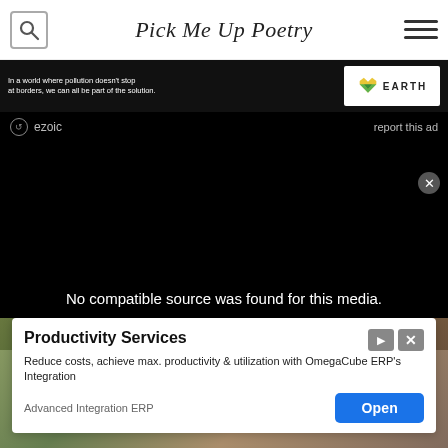Pick Me Up Poetry
[Figure (screenshot): Ad banner with text 'In a world where pollution doesn't stop at borders, we can all be part of the solution.' and Earth logo]
[Figure (screenshot): Dark video player area with ezoic ad label, 'report this ad' link, close button, and message 'No compatible source was found for this media.']
[Figure (screenshot): Advertisement card: Productivity Services - Reduce costs, achieve max. productivity & utilization with OmegaCube ERP's Integration. Advanced Integration ERP. Open button.]